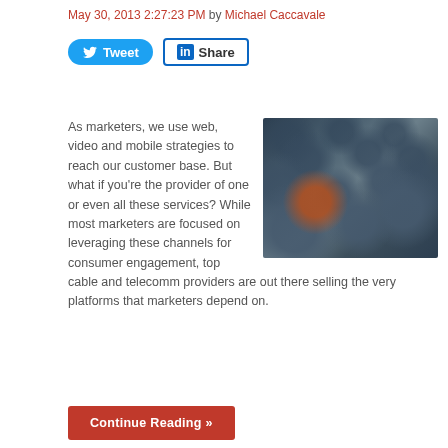May 30, 2013 2:27:23 PM by Michael Caccavale
[Figure (other): Twitter Tweet button and LinkedIn Share button]
[Figure (photo): A grid of dark metallic spheres with one orange/red sphere standing out among them]
As marketers, we use web, video and mobile strategies to reach our customer base. But what if you're the provider of one or even all these services? While most marketers are focused on leveraging these channels for consumer engagement, top cable and telecomm providers are out there selling the very platforms that marketers depend on.
Continue Reading »